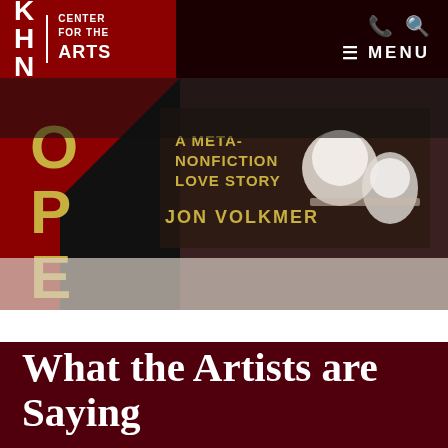KHN CENTER FOR THE ARTS | MENU
[Figure (photo): A book cover partially visible showing 'OPE' in large letters, subtitle 'A META-NONFICTION LOVE STORY' and author name 'JON VOLKMER' in yellow text on a red and black cover, with white ceramic cups in the background on a table.]
What the Artists are Saying